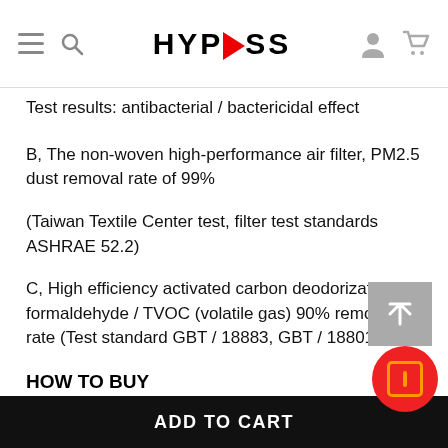HYPASS
Test results: antibacterial / bactericidal effect
B, The non-woven high-performance air filter, PM2.5 dust removal rate of 99%
(Taiwan Textile Center test, filter test standards ASHRAE 52.2)
C, High efficiency activated carbon deodorization, formaldehyde / TVOC (volatile gas) 90% removal rate (Test standard GBT / 18883, GBT / 18801)
HOW TO BUY
1. Choose the section  and then the product type.
2. Select an item of product and add it to your bask
ADD TO CART